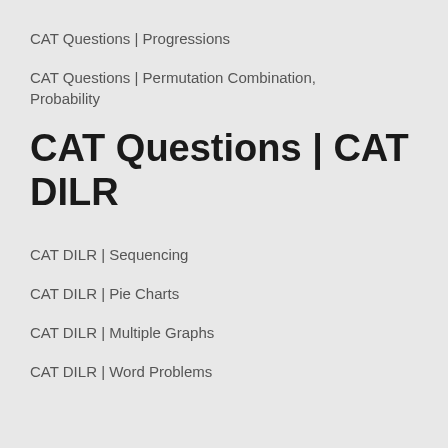CAT Questions | Progressions
CAT Questions | Permutation Combination, Probability
CAT Questions | CAT DILR
CAT DILR | Sequencing
CAT DILR | Pie Charts
CAT DILR | Multiple Graphs
CAT DILR | Word Problems